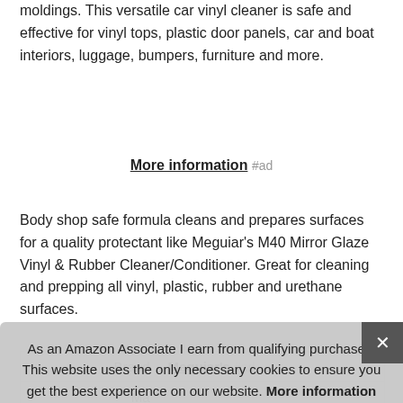moldings. This versatile car vinyl cleaner is safe and effective for vinyl tops, plastic door panels, car and boat interiors, luggage, bumpers, furniture and more.
More information #ad
Body shop safe formula cleans and prepares surfaces for a quality protectant like Meguiar's M40 Mirror Glaze Vinyl & Rubber Cleaner/Conditioner. Great for cleaning and prepping all vinyl, plastic, rubber and urethane surfaces.
|  |  |
| --- | --- |
| Brand | Meguiar's #ad |
| Ma... | ... |
As an Amazon Associate I earn from qualifying purchases. This website uses the only necessary cookies to ensure you get the best experience on our website. More information